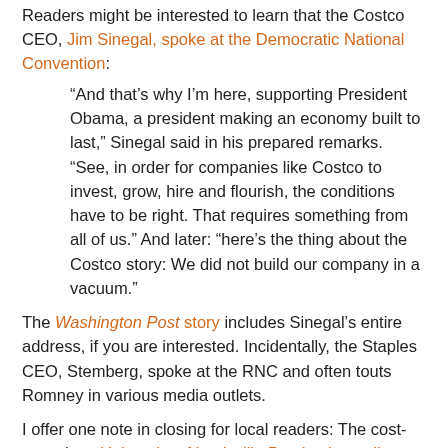Readers might be interested to learn that the Costco CEO, Jim Sinegal, spoke at the Democratic National Convention:
“And that’s why I’m here, supporting President Obama, a president making an economy built to last,” Sinegal said in his prepared remarks. “See, in order for companies like Costco to invest, grow, hire and flourish, the conditions have to be right. That requires something from all of us.” And later: “here’s the thing about the Costco story: We did not build our company in a vacuum.”
The Washington Post story includes Sinegal’s entire address, if you are interested. Incidentally, the Staples CEO, Stemberg, spoke at the RNC and often touts Romney in various media outlets.
I offer one note in closing for local readers: The cost-conscious University of Louisville Purchasing policy includes this opening paragraph in the section on office supplies:
“Office Supplies are to be purchased through the